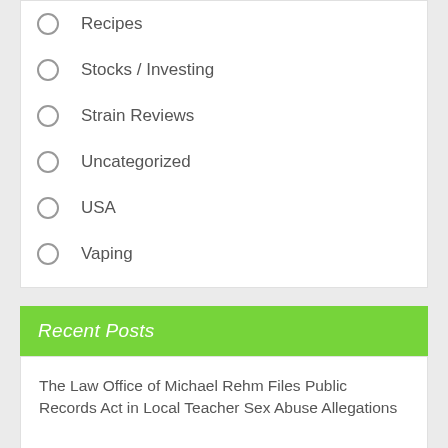Recipes
Stocks / Investing
Strain Reviews
Uncategorized
USA
Vaping
Recent Posts
The Law Office of Michael Rehm Files Public Records Act in Local Teacher Sex Abuse Allegations
New cannabis dispensary proposed in Richmond, Ill by Wisconsin border | Local News
Fresno's First Recreational Cannabis Dispensary |